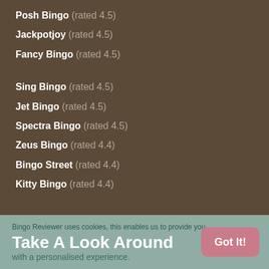Posh Bingo (rated 4.5)
Jackpotjoy (rated 4.5)
Fancy Bingo (rated 4.5)
Sing Bingo (rated 4.5)
Jet Bingo (rated 4.5)
Spectra Bingo (rated 4.5)
Zeus Bingo (rated 4.4)
Bingo Street (rated 4.4)
Kitty Bingo (rated 4.4)
Bingo Reviewer uses cookies, this enables us to provide you with a personalised experience.
Take A Look Around